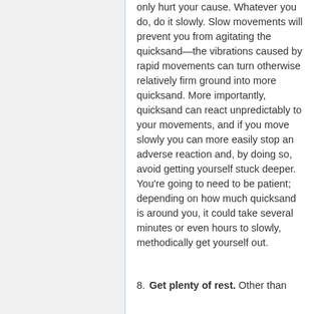only hurt your cause. Whatever you do, do it slowly. Slow movements will prevent you from agitating the quicksand—the vibrations caused by rapid movements can turn otherwise relatively firm ground into more quicksand. More importantly, quicksand can react unpredictably to your movements, and if you move slowly you can more easily stop an adverse reaction and, by doing so, avoid getting yourself stuck deeper. You're going to need to be patient; depending on how much quicksand is around you, it could take several minutes or even hours to slowly, methodically get yourself out.
8. Get plenty of rest. Other than